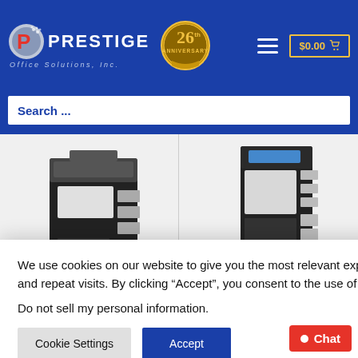[Figure (logo): Prestige Office Solutions Inc. logo with red P letter and dotted design, white text on blue background, 26th Anniversary badge in gold]
Search ...
[Figure (photo): Black and white multifunction printer/copier - left product]
[Figure (photo): Black and white multifunction printer/copier - right product (Konica Minolta Bizhub 754 Used)]
We use cookies on our website to give you the most relevant experience by remembering your preferences and repeat visits. By clicking “Accept”, you consent to the use of ALL the cookies.
Do not sell my personal information.
Cookie Settings
Accept
Bizhub 754 Used
$99.00
Select options
Chat